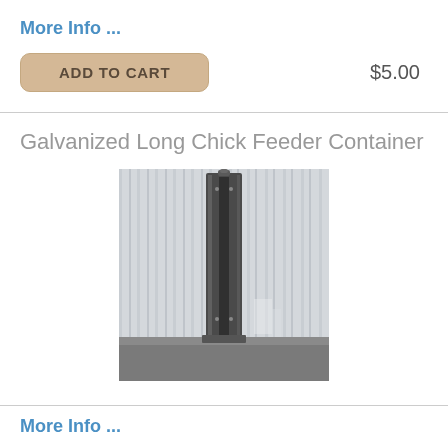More Info ...
ADD TO CART
$5.00
Galvanized Long Chick Feeder Container
[Figure (photo): A tall narrow galvanized long chick feeder container standing upright against a corrugated metal wall background.]
More Info ...